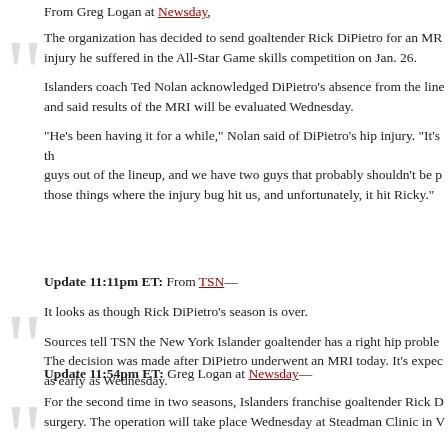From Greg Logan at Newsday,
The organization has decided to send goaltender Rick DiPietro for an MRI injury he suffered in the All-Star Game skills competition on Jan. 26.

Islanders coach Ted Nolan acknowledged DiPietro's absence from the lineup and said results of the MRI will be evaluated Wednesday.

“He’s been having it for a while,” Nolan said of DiPietro’s hip injury. “It’s those guys out of the lineup, and we have two guys that probably shouldn’t be playing. those things where the injury bug hit us, and unfortunately, it hit Ricky.”
Update 11:11pm ET: From TSN—
It looks as though Rick DiPietro’s season is over.

Sources tell TSN the New York Islander goaltender has a right hip problem. The decision was made after DiPietro underwent an MRI today. It’s expected as early as Wednesday.
Update 11:54pm ET: Greg Logan at Newsday—
For the second time in two seasons, Islanders franchise goaltender Rick D surgery. The operation will take place Wednesday at Steadman Clinic in V